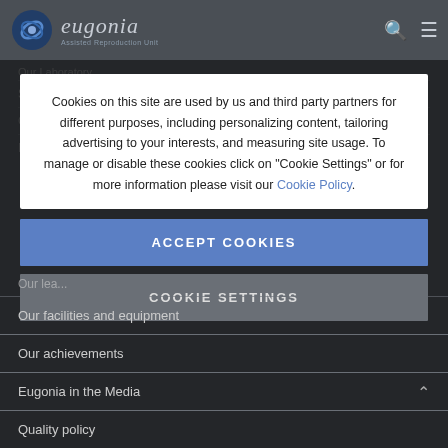eugenia | Assisted Reproduction Unit
Cookies on this site are used by us and third party partners for different purposes, including personalizing content, tailoring advertising to your interests, and measuring site usage. To manage or disable these cookies click on "Cookie Settings" or for more information please visit our Cookie Policy.
ACCEPT COOKIES
COOKIE SETTINGS
Our Laboratory
Our facilities and equipment
Our achievements
Eugonia in the Media
Quality policy